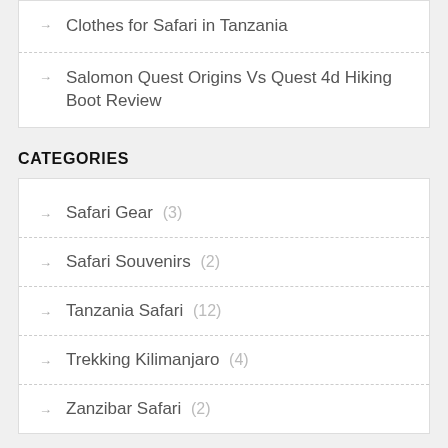Clothes for Safari in Tanzania
Salomon Quest Origins Vs Quest 4d Hiking Boot Review
CATEGORIES
Safari Gear (3)
Safari Souvenirs (2)
Tanzania Safari (12)
Trekking Kilimanjaro (4)
Zanzibar Safari (2)